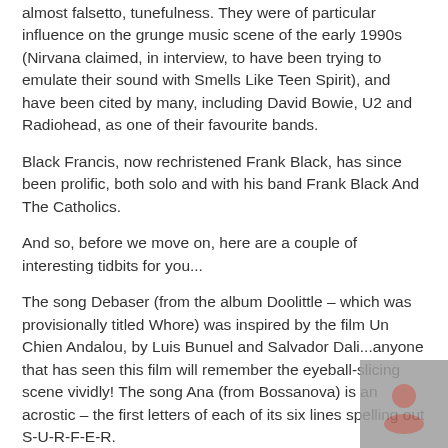almost falsetto, tunefulness. They were of particular influence on the grunge music scene of the early 1990s (Nirvana claimed, in interview, to have been trying to emulate their sound with Smells Like Teen Spirit), and have been cited by many, including David Bowie, U2 and Radiohead, as one of their favourite bands.
Black Francis, now rechristened Frank Black, has since been prolific, both solo and with his band Frank Black And The Catholics.
And so, before we move on, here are a couple of interesting tidbits for you...
The song Debaser (from the album Doolittle – which was provisionally titled Whore) was inspired by the film Un Chien Andalou, by Luis Bunuel and Salvador Dali...anyone that has seen this film will remember the eyeball-slicing scene vividly! The song Ana (from Bossanova) is an acrostic – the first letters of each of its six lines spelling out S-U-R-F-E-R.
Divinyl's tip for best introductory album = Doolittle.
Throwing Muses were formed in 1983 by Kristin Hersh and her step-sister Tanya Donelly. They self-released a set of demos (The Doghouse Cassette) in 1984, also releasing a self-titled EP later that year. Their debut album...